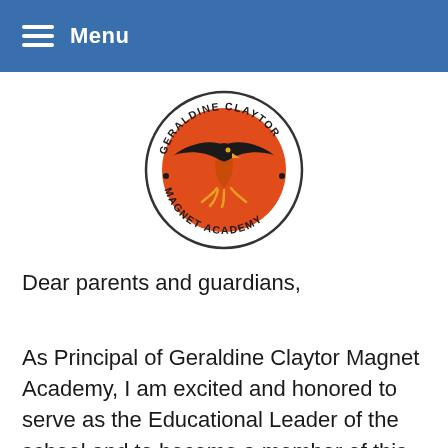Menu
[Figure (logo): Geraldine Claytor Magnet Academy circular logo with a red hawk/eagle on an orange-red background, surrounded by text reading 'GERALDINE CLAYTOR MAGNET ACADEMY']
Dear parents and guardians,
As Principal of Geraldine Claytor Magnet Academy, I am excited and honored to serve as the Educational Leader of the school and to become a member of this great community. My staff and I look forward to a productive partnership that will allow all of our students to achieve at their